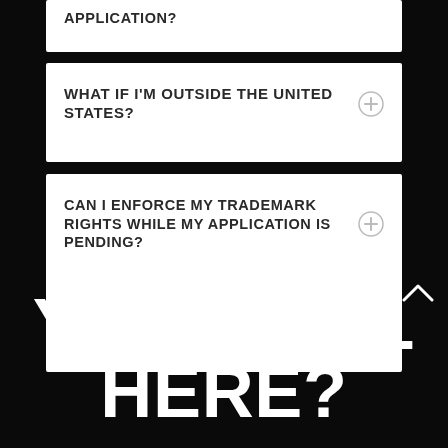APPLICATION?
WHAT IF I'M OUTSIDE THE UNITED STATES?
CAN I ENFORCE MY TRADEMARK RIGHTS WHILE MY APPLICATION IS PENDING?
YOU STILL HERE?